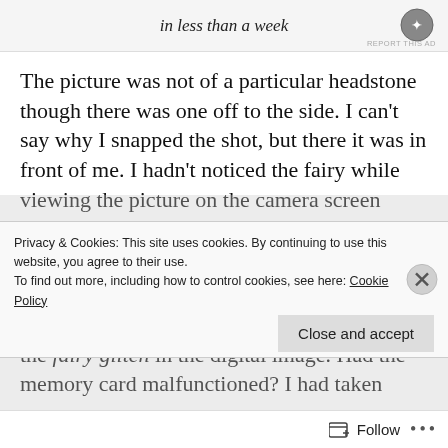[Figure (screenshot): Ad banner showing partial text 'in less than a week' with a circular logo icon and 'REPORT THIS AD' label]
The picture was not of a particular headstone though there was one off to the side. I can't say why I snapped the shot, but there it was in front of me. I hadn't noticed the fairy while viewing the picture on the camera screen because it was too small.
The logical side of my brain began analysing the fairy glitch in the digital image. Had the memory card malfunctioned? I had taken
Privacy & Cookies: This site uses cookies. By continuing to use this website, you agree to their use. To find out more, including how to control cookies, see here: Cookie Policy
Close and accept
Follow